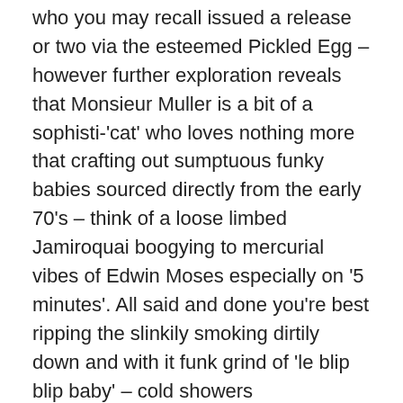who you may recall issued a release or two via the esteemed Pickled Egg – however further exploration reveals that Monsieur Muller is a bit of a sophisti-'cat' who loves nothing more that crafting out sumptuous funky babies sourced directly from the early 70's – think of a loose limbed Jamiroquai boogying to mercurial vibes of Edwin Moses especially on '5 minutes'. All said and done you're best ripping the slinkily smoking dirtily down and with it funk grind of 'le blip blip baby' – cold showers recommended.
http://www.myspace.com/nephuhuzzband – okay a very brief mention for this as we've just recently received their debut EP (a killer it is to) but have temporarily lost it – ha ha – there's one of the new year resolutions gone for a burden have to go for a smoke now to console myself